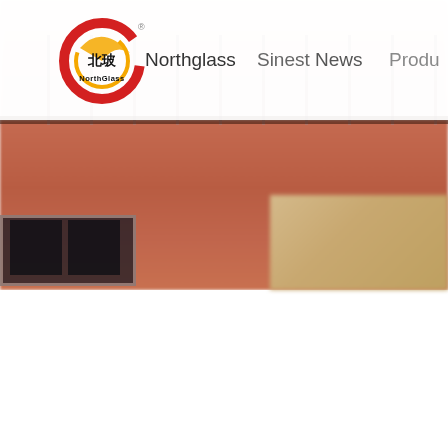[Figure (screenshot): NorthGlass company website screenshot showing the NorthGlass logo (circular red/yellow/black Chinese design with 北玻 and NorthGlass text) on the left, navigation menu items 'Northglass', 'Sinest', 'News', 'Produ...' across the top header bar, with a blurred hero image of a brick building below the navigation. Lower half of page is white/blank.]